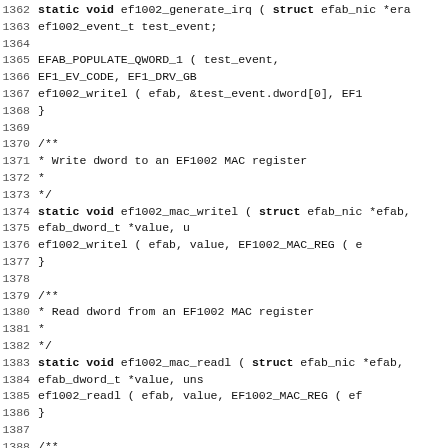Source code listing, lines 1362–1394, C source file showing EF1002 MAC functions
1362: static void ef1002_generate_irq ( struct efab_nic *efa...
1363:         ef1002_event_t test_event;
1364:
1365:         EFAB_POPULATE_QWORD_1 ( test_event,
1366:                                  EF1_EV_CODE, EF1_DRV_GB
1367:         ef1002_writel ( efab, &test_event.dword[0], EF1
1368: }
1369:
1370: /**
1371:  * Write dword to an EF1002 MAC register
1372:  *
1373:  */
1374: static void ef1002_mac_writel ( struct efab_nic *efab,
1375:                                 efab_dword_t *value, un
1376:         ef1002_writel ( efab, value, EF1002_MAC_REG ( e
1377: }
1378:
1379: /**
1380:  * Read dword from an EF1002 MAC register
1381:  *
1382:  */
1383: static void ef1002_mac_readl ( struct efab_nic *efab,
1384:                                efab_dword_t *value, uns
1385:         ef1002_readl ( efab, value, EF1002_MAC_REG ( ef
1386: }
1387:
1388: /**
1389:  * Initialise MAC
1390:  *
1391:  */
1392: static int ef1002_init_mac ( struct efab_nic *efab ) {
1393:         static struct efab_mentormac_parameters ef1002
1394:                 gmf_cfgfrth = 0x13